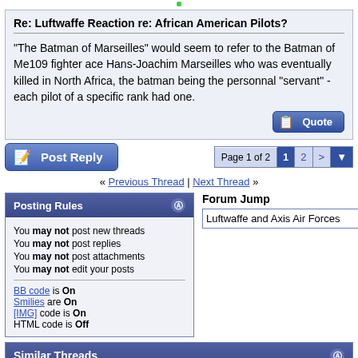Re: Luftwaffe Reaction re: African American Pilots?
"The Batman of Marseilles" would seem to refer to the Batman of Me109 fighter ace Hans-Joachim Marseilles who was eventually killed in North Africa, the batman being the personnal "servant" - each pilot of a specific rank had one.
« Previous Thread | Next Thread »
Posting Rules
You may not post new threads
You may not post replies
You may not post attachments
You may not edit your posts
BB code is On
Smilies are On
[IMG] code is On
HTML code is Off
Forum Jump
Luftwaffe and Axis Air Forces
Similar Threads
| Thread | Thread Starter | Forum | Replies | Last Post |
| --- | --- | --- | --- | --- |